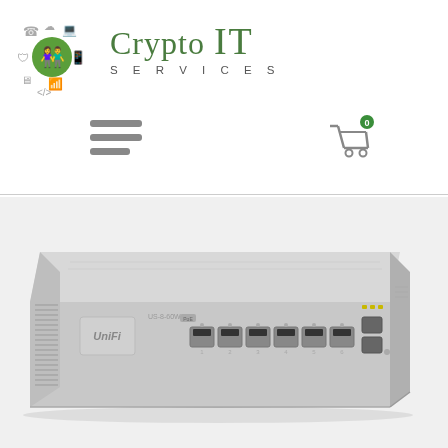[Figure (logo): Crypto IT Services logo with green icon cluster on left and green stylized text 'Crypto IT' with 'SERVICES' in spaced grey letters below]
[Figure (other): Hamburger menu icon (three grey horizontal bars) and shopping cart icon with badge showing '0']
[Figure (photo): Ubiquiti UniFi 8-port network switch in silver/grey color, angled perspective view showing front panel with 8 RJ45 ports and 2 SFP ports, ventilation slots on left side]